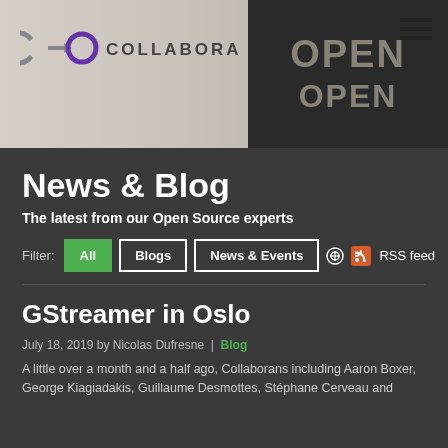[Figure (screenshot): Collabora logo with C>O symbol in gray and purple, followed by COLLABORA text in dark gray. Black chalkboard sign with OPEN written in chalk on the right side of the hero image.]
News & Blog
The latest from our Open Source experts
Filter: All | Blogs | News & Events | RSS feed
GStreamer in Oslo
July 18, 2019 by Nicolas Dufresne | Blog
A little over a month and a half ago, Collaborans including Aaron Boxer, George Kiagiadakis, Guillaume Desmottes, Stéphane Cerveau and